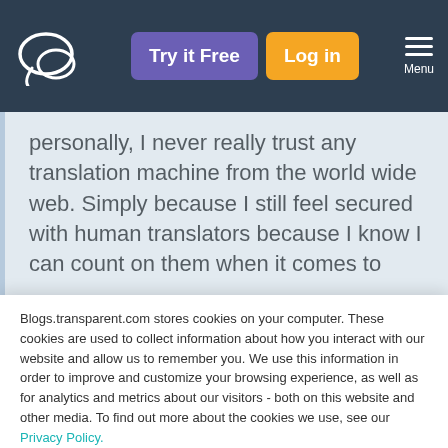[Figure (logo): Transparent language logo - white circular speech bubble icon on dark navy background]
Try it Free
Log in
Menu
personally, I never really trust any translation machine from the world wide web. Simply because I still feel secured with human translators because I know I can count on them when it comes to
Blogs.transparent.com stores cookies on your computer. These cookies are used to collect information about how you interact with our website and allow us to remember you. We use this information in order to improve and customize your browsing experience, as well as for analytics and metrics about our visitors - both on this website and other media. To find out more about the cookies we use, see our Privacy Policy.
If you decline, your information won’t be tracked when you visit this website. A single cookie will be used in your browser to remember your preference not to be tracked.
Accept
Decline